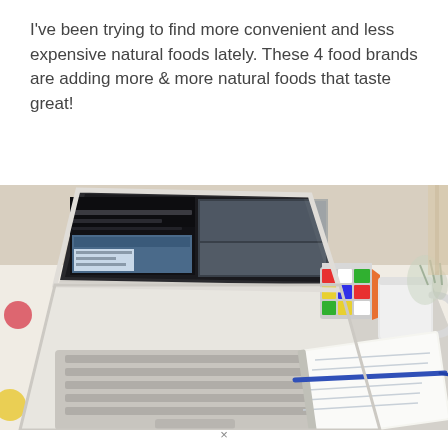I've been trying to find more convenient and less expensive natural foods lately. These 4 food brands are adding more & more natural foods that taste great!
[Figure (photo): A white laptop open on a polka-dot tablecloth, with a Rubik's cube, a white mug, a spiral notebook with a blue pen, and some wire objects in the background near a window.]